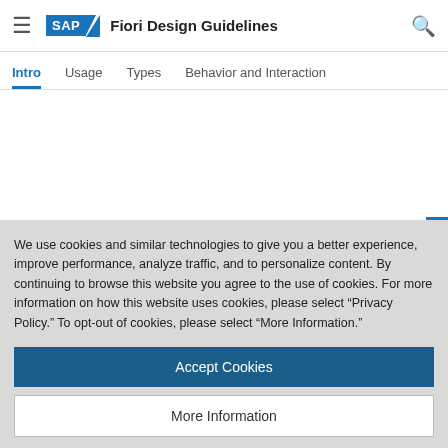SAP Fiori Design Guidelines
Intro | Usage | Types | Behavior and Interaction
We use cookies and similar technologies to give you a better experience, improve performance, analyze traffic, and to personalize content. By continuing to browse this website you agree to the use of cookies. For more information on how this website uses cookies, please select “Privacy Policy.” To opt-out of cookies, please select “More Information.”
Accept Cookies
More Information
Privacy Policy | Powered by: TrustArc
changes become effective immediately after the user